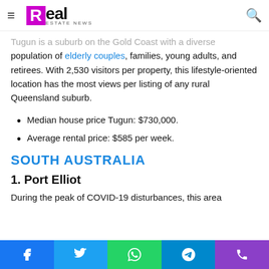Real Estate News — navigation header with logo and search icon
Tugun is a suburb on the Gold Coast with a diverse population of elderly couples, families, young adults, and retirees. With 2,530 visitors per property, this lifestyle-oriented location has the most views per listing of any rural Queensland suburb.
Median house price Tugun: $730,000.
Average rental price: $585 per week.
SOUTH AUSTRALIA
1. Port Elliot
During the peak of COVID-19 disturbances, this area
Share buttons: Facebook, Twitter, WhatsApp, Telegram, Phone